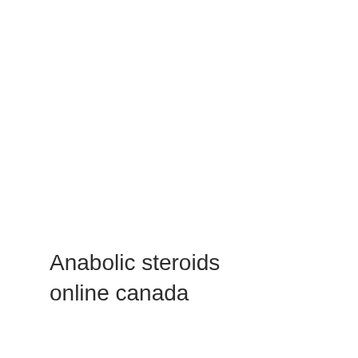Anabolic steroids online canada